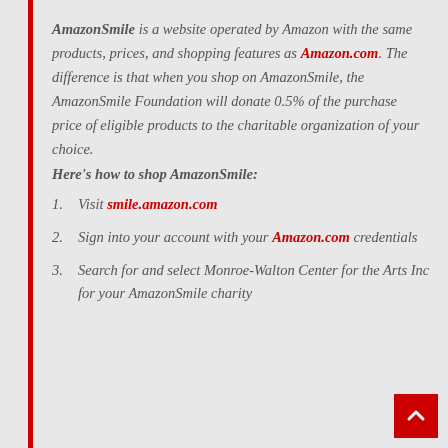AmazonSmile is a website operated by Amazon with the same products, prices, and shopping features as Amazon.com. The difference is that when you shop on AmazonSmile, the AmazonSmile Foundation will donate 0.5% of the purchase price of eligible products to the charitable organization of your choice.
Here's how to shop AmazonSmile:
1. Visit smile.amazon.com
2. Sign into your account with your Amazon.com credentials
3. Search for and select Monroe-Walton Center for the Arts Inc for your AmazonSmile charity